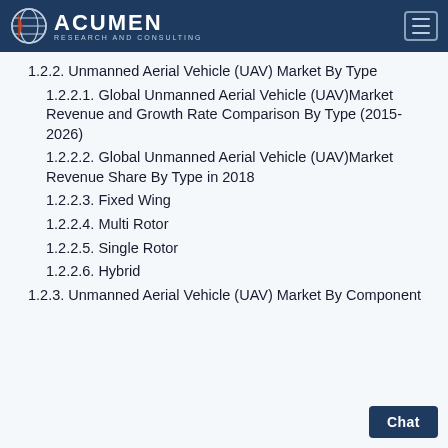Acumen Research and Consulting
1.2.2. Unmanned Aerial Vehicle (UAV) Market By Type
1.2.2.1. Global Unmanned Aerial Vehicle (UAV)Market Revenue and Growth Rate Comparison By Type (2015-2026)
1.2.2.2. Global Unmanned Aerial Vehicle (UAV)Market Revenue Share By Type in 2018
1.2.2.3. Fixed Wing
1.2.2.4. Multi Rotor
1.2.2.5. Single Rotor
1.2.2.6. Hybrid
1.2.3. Unmanned Aerial Vehicle (UAV) Market By Component